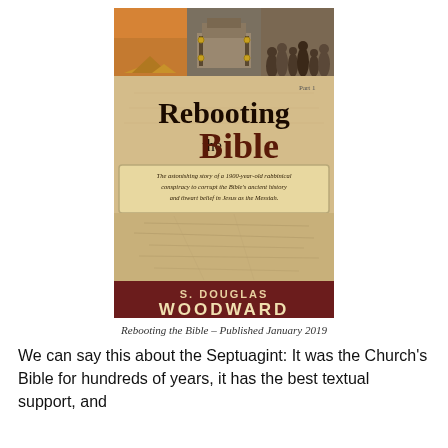[Figure (illustration): Book cover of 'Rebooting the Bible' by S. Douglas Woodward. The cover features three historical images at the top (pyramids, ark of the covenant, crowd of figures), a parchment-colored background with the large title text 'Rebooting the Bible', a subtitle banner reading 'The astonishing story of a 1900-year-old rabbinical conspiracy to corrupt the Bible's ancient history and thwart belief in Jesus as the Messiah.', an ancient map/manuscript background in the middle, and an author name 'S. DOUGLAS WOODWARD' on a dark red banner at the bottom.]
Rebooting the Bible – Published January 2019
We can say this about the Septuagint: It was the Church's Bible for hundreds of years, it has the best textual support, and